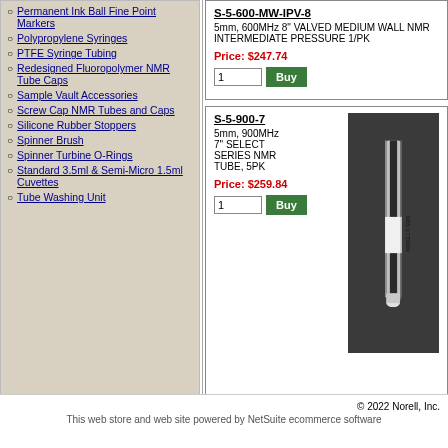Permanent Ink Ball Fine Point Markers
Polypropylene Syringes
PTFE Syringe Tubing
Redesigned Fluoropolymer NMR Tube Caps
Sample Vault Accessories
Screw Cap NMR Tubes and Caps
Silicone Rubber Stoppers
Spinner Brush
Spinner Turbine O-Rings
Standard 3.5ml & Semi-Micro 1.5ml Cuvettes
Tube Washing Unit
S-5-600-MW-IPV-8
5mm, 600MHz 8" VALVED MEDIUM WALL NMR INTERMEDIATE PRESSURE 1/PK
Price: $247.74
S-5-900-7
5mm, 900MHz 7" SELECT SERIES NMR TUBE, 5PK
Price: $259.84
[Figure (photo): NMR tube product photo showing NORELL S900 tube against dark background]
© 2022 Norell, Inc.
This web store and web site powered by NetSuite ecommerce software